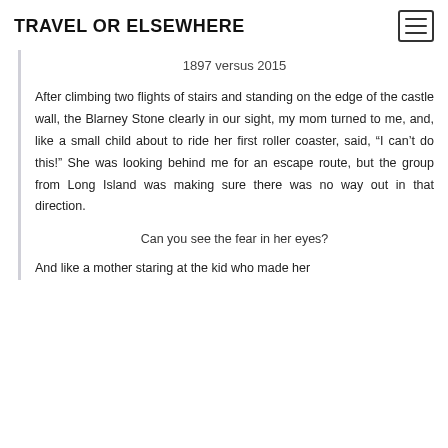TRAVEL OR ELSEWHERE
1897 versus 2015
After climbing two flights of stairs and standing on the edge of the castle wall, the Blarney Stone clearly in our sight, my mom turned to me, and, like a small child about to ride her first roller coaster, said, “I can’t do this!” She was looking behind me for an escape route, but the group from Long Island was making sure there was no way out in that direction.
Can you see the fear in her eyes?
And like a mother staring at the kid who made her